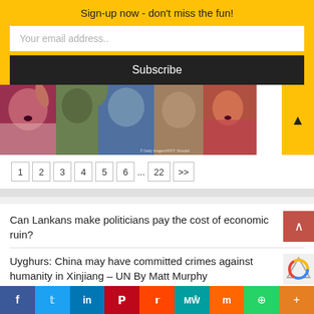Sign-up now - don't miss the fun!
Your email address..
Subscribe
[Figure (photo): Crowd of women with headscarves, some raising hands, appearing to shout or protest. Getty Images/AFP/T. Mustafa credit visible.]
1  2  3  4  5  6  ...  22  >>
Can Lankans make politicians pay the cost of economic ruin?
Uyghurs: China may have committed crimes against humanity in Xinjiang – UN By Matt Murphy